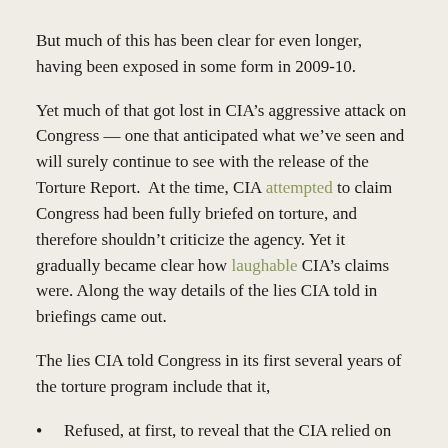But much of this has been clear for even longer, having been exposed in some form in 2009-10.
Yet much of that got lost in CIA’s aggressive attack on Congress — one that anticipated what we’ve seen and will surely continue to see with the release of the Torture Report.  At the time, CIA attempted to claim Congress had been fully briefed on torture, and therefore shouldn’t criticize the agency. Yet it gradually became clear how laughable CIA’s claims were. Along the way details of the lies CIA told in briefings came out.
The lies CIA told Congress in its first several years of the torture program include that it,
Refused, at first, to reveal that the CIA relied on